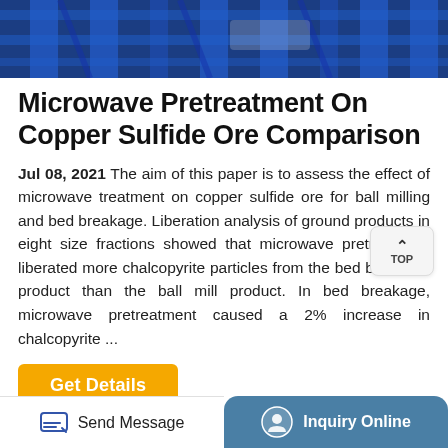[Figure (photo): Photo of industrial blue metal machinery/equipment, partially visible at top of page]
Microwave Pretreatment On Copper Sulfide Ore Comparison
Jul 08, 2021 The aim of this paper is to assess the effect of microwave treatment on copper sulfide ore for ball milling and bed breakage. Liberation analysis of ground products in eight size fractions showed that microwave pretreatment liberated more chalcopyrite particles from the bed breakage product than the ball mill product. In bed breakage, microwave pretreatment caused a 2% increase in chalcopyrite ...
Get Details
Send Message
Inquiry Online